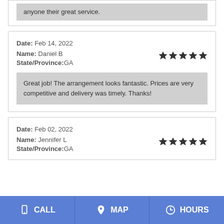anyone their great service.
Date: Feb 14, 2022
Name: Daniel B
State/Province:GA
Great job! The arrangement looks fantastic. Prices are very competitive and delivery was timely. Thanks!
Date: Feb 02, 2022
Name: Jennifer L
State/Province:GA
CALL   MAP   HOURS